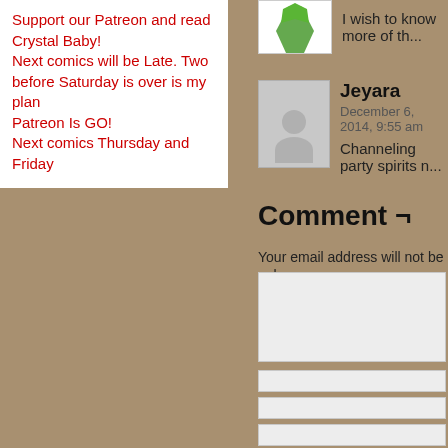Support our Patreon and read Crystal Baby!
Next comics will be Late. Two before Saturday is over is my plan
Patreon Is GO!
Next comics Thursday and Friday
I wish to know more of th...
Jeyara
December 6, 2014, 9:55 am
Channeling party spirits n...
Comment ¬
Your email address will not be pub...
[Figure (screenshot): Comment form with textarea, three input fields, notify checkbox, and Post Comment button]